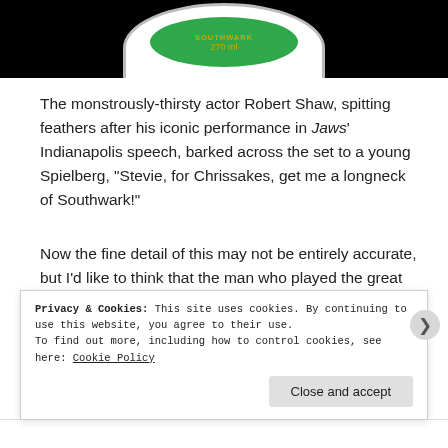[Figure (photo): Top portion of a bottle label on a black background, showing a green oval label with gold text, partially cropped at top]
The monstrously-thirsty actor Robert Shaw, spitting feathers after his iconic performance in Jaws' Indianapolis speech, barked across the set to a young Spielberg, “Stevie, for Chrissakes, get me a longneck of Southwark!”
Now the fine detail of this may not be entirely accurate, but I’d like to think that the man who played the great shark-hunter, Quint, would’ve been a Southwark slurper. It sits well against his gruff, world-weary until a colossal shark devoured my character when I slid down a sinking boat into its mouth, image.
Privacy & Cookies: This site uses cookies. By continuing to use this website, you agree to their use.
To find out more, including how to control cookies, see here: Cookie Policy
Close and accept